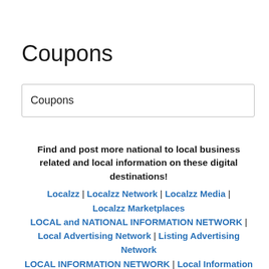Coupons
| Coupons |
| --- |
Find and post more national to local business related and local information on these digital destinations!
Localzz | Localzz Network | Localzz Media | Localzz Marketplaces LOCAL and NATIONAL INFORMATION NETWORK | Local Advertising Network | Listing Advertising Network LOCAL INFORMATION NETWORK | Local Information Marketplaces | National Information Network | National Information Marketplaces